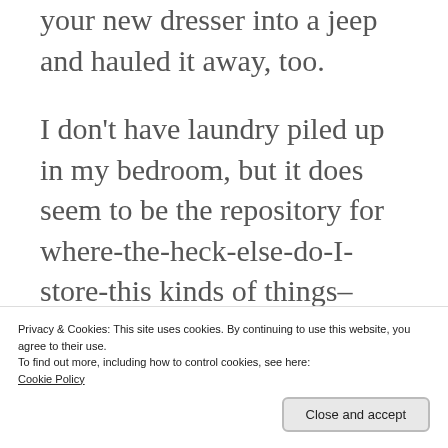your new dresser into a jeep and hauled it away, too.
I don't have laundry piled up in my bedroom, but it does seem to be the repository for where-the-heck-else-do-I-store-this kinds of things–right now I have school supplies on the chair, a pile of Goodwill-wanna-be's by the dresser, etc.
Privacy & Cookies: This site uses cookies. By continuing to use this website, you agree to their use.
To find out more, including how to control cookies, see here:
Cookie Policy
Close and accept